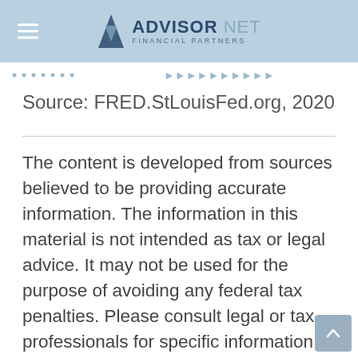ADVISOR NET FINANCIAL PARTNERS
Source: FRED.StLouisFed.org, 2020
The content is developed from sources believed to be providing accurate information. The information in this material is not intended as tax or legal advice. It may not be used for the purpose of avoiding any federal tax penalties. Please consult legal or tax professionals for specific information regarding your individual situation. This material was developed and produced by FMG Suite to